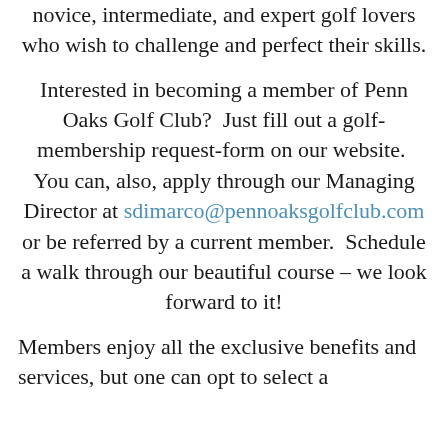novice, intermediate, and expert golf lovers who wish to challenge and perfect their skills.
Interested in becoming a member of Penn Oaks Golf Club?  Just fill out a golf-membership request-form on our website.  You can, also, apply through our Managing Director at sdimarco@pennoaksgolfclub.com or be referred by a current member.  Schedule a walk through our beautiful course – we look forward to it!
Members enjoy all the exclusive benefits and services, but one can opt to select a